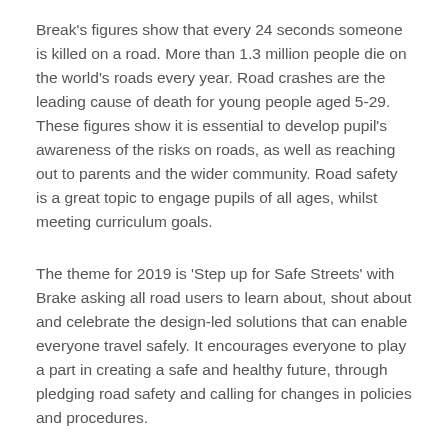Break's figures show that every 24 seconds someone is killed on a road. More than 1.3 million people die on the world's roads every year. Road crashes are the leading cause of death for young people aged 5-29. These figures show it is essential to develop pupil's awareness of the risks on roads, as well as reaching out to parents and the wider community. Road safety is a great topic to engage pupils of all ages, whilst meeting curriculum goals.
The theme for 2019 is 'Step up for Safe Streets' with Brake asking all road users to learn about, shout about and celebrate the design-led solutions that can enable everyone travel safely. It encourages everyone to play a part in creating a safe and healthy future, through pledging road safety and calling for changes in policies and procedures.